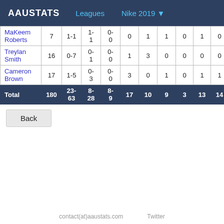AAUSTATS  Leagues  Nike 2019 ▼
| Player | Min | FG | 2PT | 3PT | FT | Reb | Ast | Stl | Blk | Pts |
| --- | --- | --- | --- | --- | --- | --- | --- | --- | --- | --- |
| MaKeem Roberts | 7 | 1-1 | 1-1 | 0-0 | 0 | 1 | 1 | 0 | 1 | 0 |
| Treylan Smith | 16 | 0-7 | 0-1 | 0-0 | 1 | 3 | 0 | 0 | 0 | 0 |
| Cameron Brown | 17 | 1-5 | 0-3 | 0-0 | 3 | 0 | 1 | 0 | 1 | 1 |
| Total | 180 | 23-63 | 8-28 | 8-9 | 17 | 10 | 9 | 3 | 13 | 14 |
Back
contact(at)aaustats.com    Twitter